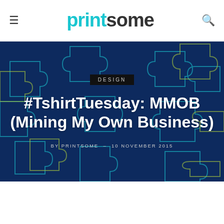printsome
[Figure (illustration): Hero banner with dark navy blue background covered in puzzle piece outlines in teal and yellow-green colors. Contains centered text overlay with category badge 'DESIGN', article title '#TshirtTuesday: MMOB (Mining My Own Business)', and byline 'BY PRINTSOME - 10 NOVEMBER 2015'.]
#TshirtTuesday: MMOB (Mining My Own Business)
BY PRINTSOME - 10 NOVEMBER 2015